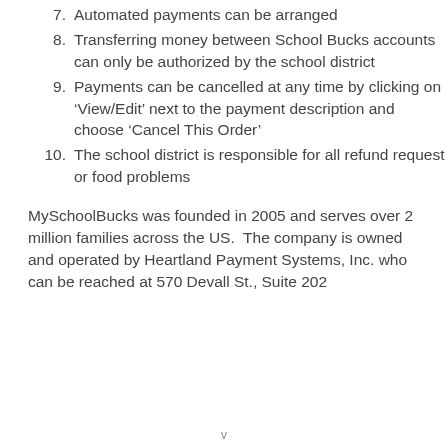7. Automated payments can be arranged
8. Transferring money between School Bucks accounts can only be authorized by the school district
9. Payments can be cancelled at any time by clicking on ‘View/Edit’ next to the payment description and choose ‘Cancel This Order’
10. The school district is responsible for all refund request or food problems
MySchoolBucks was founded in 2005 and serves over 2 million families across the US.  The company is owned and operated by Heartland Payment Systems, Inc. who can be reached at 570 Devall St., Suite 202
v